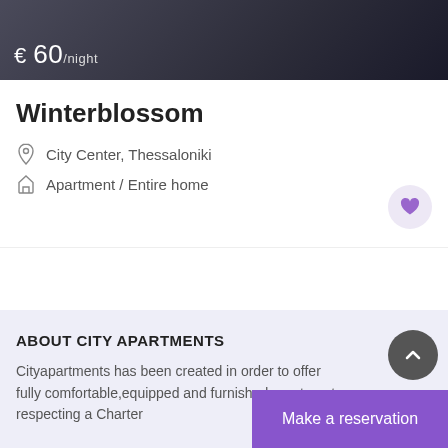[Figure (photo): Dark background photo of apartment interior with price overlay showing € 60/night]
Winterblossom
City Center, Thessaloniki
Apartment / Entire home
ABOUT CITY APARTMENTS
Cityapartments has been created in order to offer fully comfortable,equipped and furnished apartments respecting a Charter